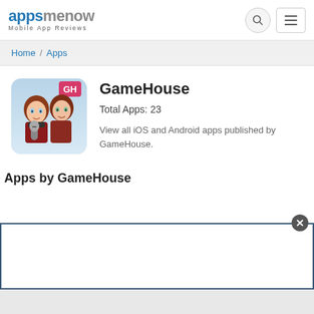[Figure (logo): appsmenow logo with 'Mobile App Reviews' subtitle]
Home / Apps
[Figure (illustration): GameHouse app icon showing two animated red-haired girls with GH badge]
GameHouse
Total Apps: 23
View all iOS and Android apps published by GameHouse.
Apps by GameHouse